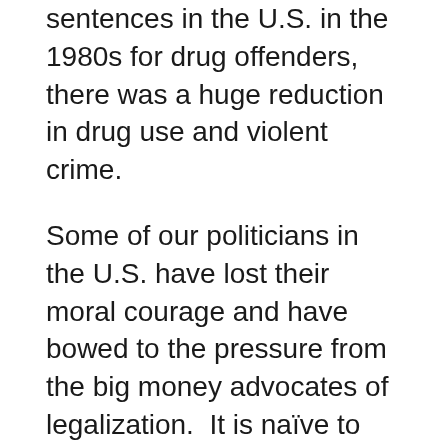sentences in the U.S. in the 1980s for drug offenders, there was a huge reduction in drug use and violent crime.
Some of our politicians in the U.S. have lost their moral courage and have bowed to the pressure from the big money advocates of legalization.  It is naïve to think that after pot legalization these advocates will not push for the legalization of many more illegal substances.
Ask the people of Colorado what they think about pot legalization now.  They will tell you there are more pot stores than pharmacies in the state.  There is an alarming rate of pre-teens and teen use of pot, a huge increase in the need for social services, increased crime on the streets, communities and in the schools. Police are forced